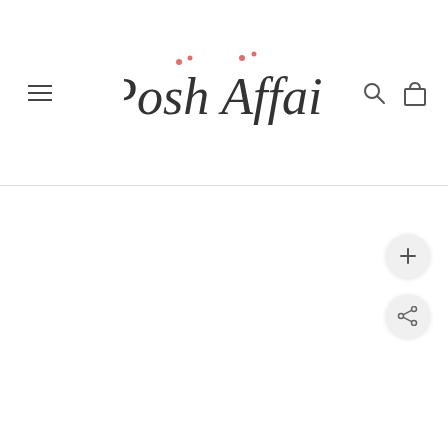[Figure (logo): Posh Affair brand logo in script/cursive font with small pink/red decorative dots, centered in the page header]
[Figure (other): Navigation header with hamburger menu icon on left, search icon and shopping bag icon on right]
[Figure (other): Circular button with plus (+) icon on right side of content area]
[Figure (other): Circular button with share icon on right side of content area below the plus button]